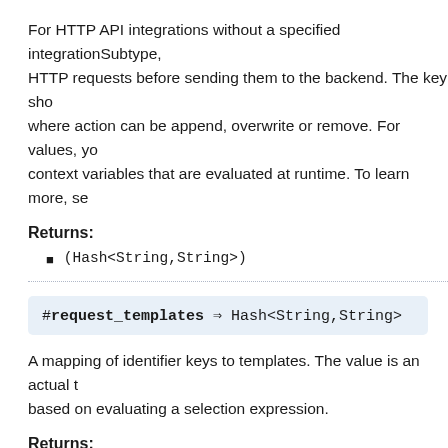For HTTP API integrations without a specified integrationSubtype, HTTP requests before sending them to the backend. The key sho where action can be append, overwrite or remove. For values, yo context variables that are evaluated at runtime. To learn more, se
Returns:
(Hash<String,String>)
[Figure (other): Code signature block: #request_templates ⇒ Hash<String,String>]
A mapping of identifier keys to templates. The value is an actual t based on evaluating a selection expression.
Returns:
(Hash<String,String>)
[Figure (other): Code signature block: #response_parameters ⇒ Hash<String,Hash<String,St]